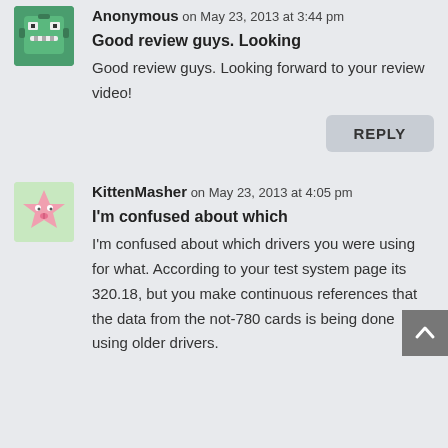[Figure (illustration): Anonymous user avatar - cartoon robot/alien face on green background]
Anonymous on May 23, 2013 at 3:44 pm
Good review guys. Looking
Good review guys. Looking forward to your review video!
REPLY
[Figure (illustration): KittenMasher user avatar - pink star/blob creature on light green background]
KittenMasher on May 23, 2013 at 4:05 pm
I'm confused about which
I'm confused about which drivers you were using for what. According to your test system page its 320.18, but you make continuous references that the data from the not-780 cards is being done using older drivers.